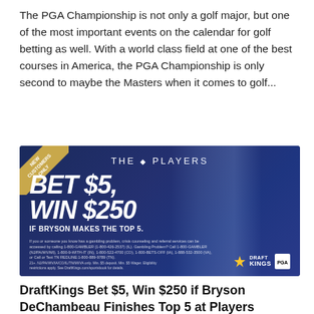The PGA Championship is not only a golf major, but one of the most important events on the calendar for golf betting as well. With a world class field at one of the best courses in America, the PGA Championship is only second to maybe the Masters when it comes to golf...
[Figure (photo): DraftKings advertisement banner for The Players Championship showing a golfer mid-swing on a dark blue background with text 'BET $5, WIN $250 IF BRYSON MAKES THE TOP 5' and DraftKings logo]
DraftKings Bet $5, Win $250 if Bryson DeChambeau Finishes Top 5 at Players